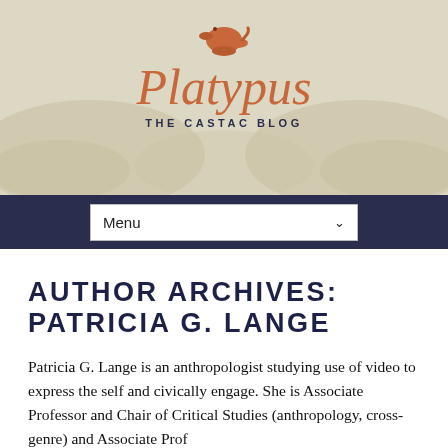[Figure (illustration): Platypus blog header banner with orange platypus icon, italic 'Platypus' title in orange, and subtitle 'THE CASTAC BLOG' in navy, over a beige background with faint platypus watermark]
Menu
AUTHOR ARCHIVES: PATRICIA G. LANGE
Patricia G. Lange is an anthropologist studying use of video to express the self and civically engage. She is Associate Professor and Chair of Critical Studies (anthropology, cross-genre) and Associate Prof...